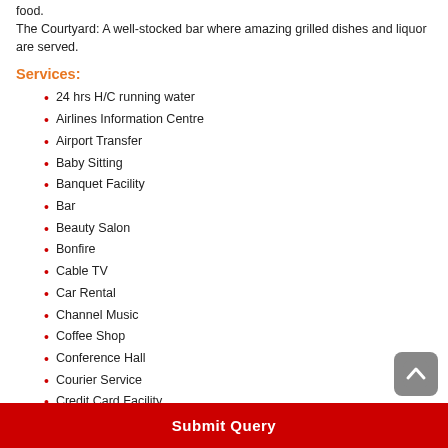food.
The Courtyard: A well-stocked bar where amazing grilled dishes and liquor are served.
Services:
24 hrs H/C running water
Airlines Information Centre
Airport Transfer
Baby Sitting
Banquet Facility
Bar
Beauty Salon
Bonfire
Cable TV
Car Rental
Channel Music
Coffee Shop
Conference Hall
Courier Service
Credit Card Facility
Doctor on Call
EPABX enabled telephone facility
Submit Query